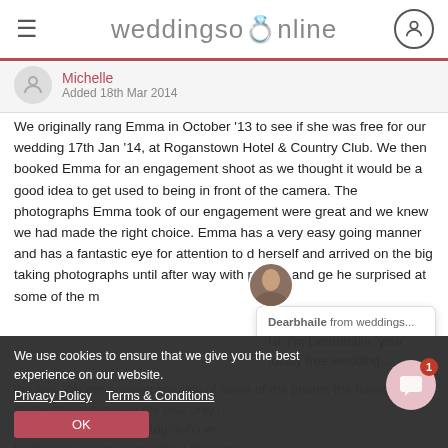weddingsonline
Michelle
Added 18th Mar 2014
We originally rang Emma in October '13 to see if she was free for our wedding 17th Jan '14, at Roganstown Hotel & Country Club. We then booked Emma for an engagement shoot as we thought it would be a good idea to get used to being in front of the camera. The photographs Emma took of our engagement were great and we knew we had made the right choice. Emma has a very easy going manner and has a fantastic eye for attention to d herself and arrived on the big taking photographs until after way with people and get surprised at some of the the day. We got a sneak preview of some of the photos the following and all the photographs in the disc only the disc with all our photographs w lovely mini album cover with a photogra the also came with a lovely slide show containing the m
Dearbhaile from weddings...
Hi, I'm Dearbhaile, your totally free wedding...
We use cookies to ensure that we give you the best experience on our website.
Privacy Policy   Terms & Conditions
OK